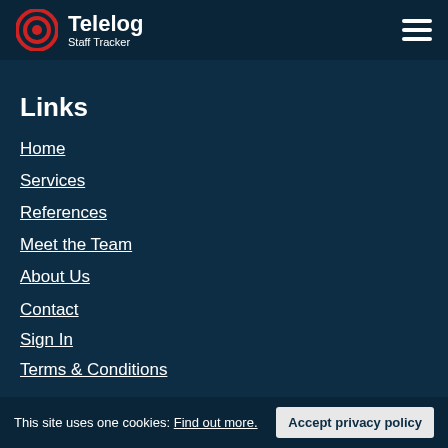Telelog Staff Tracker
Links
Home
Services
References
Meet the Team
About Us
Contact
Sign In
Terms & Conditions
This site uses one cookies: Find out more. Accept privacy policy